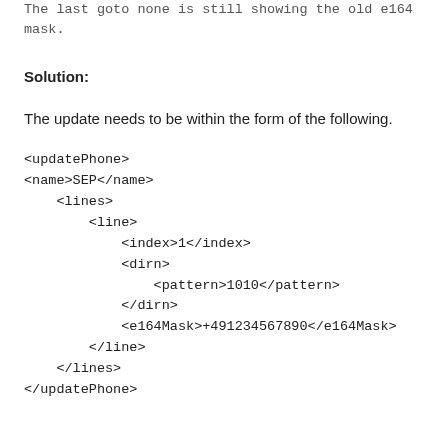The last goto none is still showing the old e164 mask.
Solution:
The update needs to be within the form of the following.
<updatePhone>
<name>SEP</name>
    <lines>
        <line>
            <index>1</index>
            <dirn>
                <pattern>1010</pattern>
            </dirn>
            <e164Mask>+491234567890</e164Mask>
        </line>
    </lines>
</updatePhone>